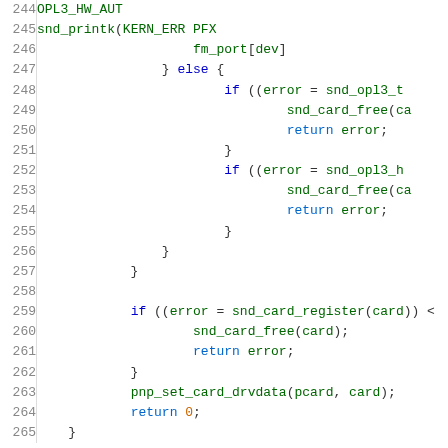[Figure (screenshot): Source code snippet showing C code lines 244-265 with syntax highlighting. Line numbers in grey on left, keywords in blue, function names in green, return statements in blue.]